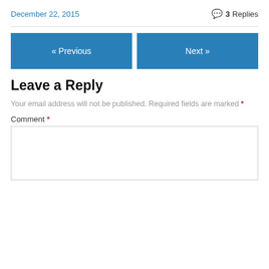December 22, 2015
3 Replies
« Previous
Next »
Leave a Reply
Your email address will not be published. Required fields are marked *
Comment *